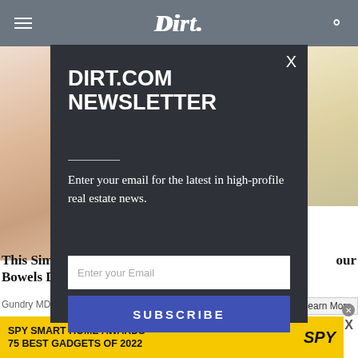Dirt
[Figure (screenshot): Website screenshot showing Dirt.com with a newsletter modal popup overlay. Background shows webpage content with article images on left and right sides. Modal has dark background with newsletter signup form.]
DIRT.COM NEWSLETTER
Enter your email for the latest in high-profile real estate news.
This Sim... our Bowels D...
Gundry MD
Learn More
SPY SMART HOME AWARDS 75 BEST GADGETS OF 2022